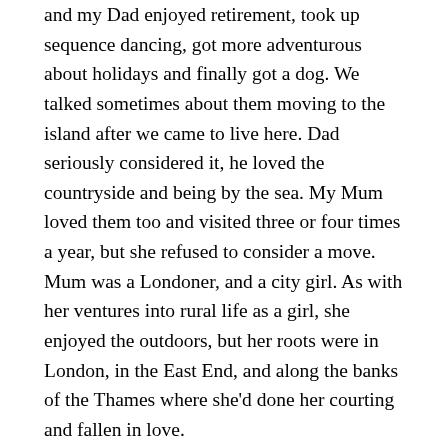and my Dad enjoyed retirement, took up sequence dancing, got more adventurous about holidays and finally got a dog. We talked sometimes about them moving to the island after we came to live here. Dad seriously considered it, he loved the countryside and being by the sea. My Mum loved them too and visited three or four times a year, but she refused to consider a move. Mum was a Londoner, and a city girl. As with her ventures into rural life as a girl, she enjoyed the outdoors, but her roots were in London, in the East End, and along the banks of the Thames where she'd done her courting and fallen in love.
When they finally moved to the island it was too late. Dad had cancer and died only a couple of months after he got here and Mum, by then, was already showing signs of dementia. She'd smoked all her life, long after Dad gave up, calmly asserting that it was her one vice and she knew the risks. We gave up arguing about it, we knew how stubborn she could be. Vascular dementia was the legacy of that vice, a series of small strokes over the years, which gradually took her away, until she no